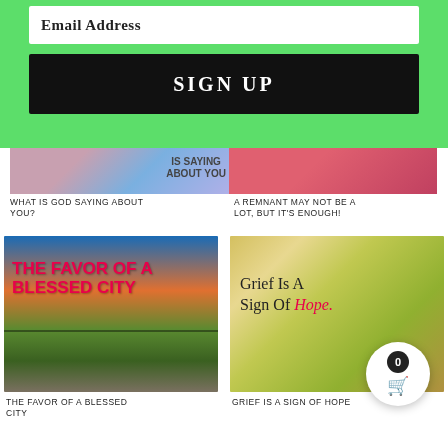Email Address
SIGN UP
[Figure (screenshot): Partial article image with overlay text 'IS SAYING ABOUT YOU']
WHAT IS GOD SAYING ABOUT YOU?
[Figure (screenshot): Partial red/pink gradient image for article]
A REMNANT MAY NOT BE A LOT, BUT IT'S ENOUGH!
[Figure (photo): Aerial city skyline image with bold red text overlay: THE FAVOR OF A BLESSED CITY]
THE FAVOR OF A BLESSED CITY
[Figure (photo): Swing chains close-up with sunlight and text: Grief Is A Sign Of Hope.]
GRIEF IS A SIGN OF HOPE
[Figure (photo): Partial bottom image showing road and dramatic sky]